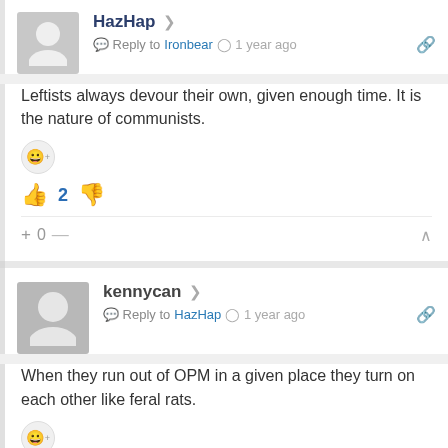HazHap  ↗  Reply to Ironbear  🕐 1 year ago  🔗
Leftists always devour their own, given enough time. It is the nature of communists.
👍 2  👎
+ 0 —  ∧
kennycan  ↗  Reply to HazHap  🕐 1 year ago  🔗
When they run out of OPM in a given place they turn on each other like feral rats.
👍 1  👎